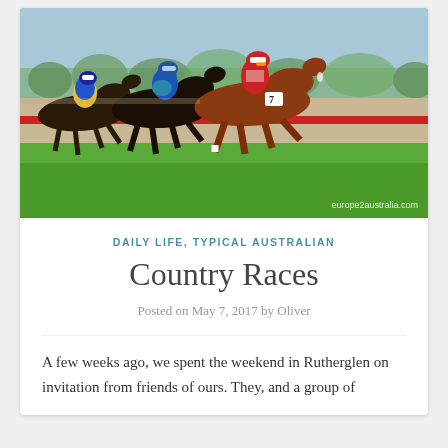[Figure (photo): Horse race photo showing three jockeys racing on a track. The lead horse (#7, chestnut) has a jockey in red and white. Behind are two other horses with jockeys in yellow/blue and blue outfits. Green grass in foreground, a red rail strip and sandy track visible, trees in background. Watermark reads 'europe2australia.com'.]
DAILY LIFE, TYPICAL AUSTRALIAN
Country Races
Posted on May 7, 2017 by Oliver
A few weeks ago, we spent the weekend in Rutherglen on invitation from friends of ours. They, and a group of